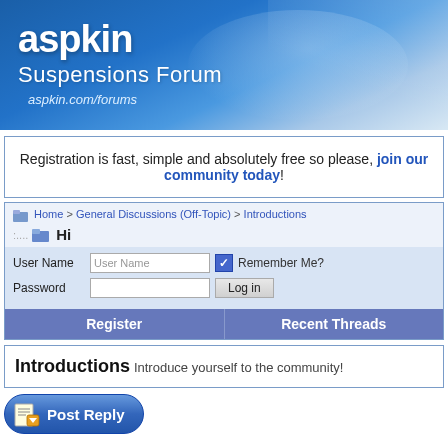[Figure (screenshot): aspkin Suspensions Forum header banner with blue gradient and logo text]
Registration is fast, simple and absolutely free so please, join our community today!
Home > General Discussions (Off-Topic) > Introductions
Hi
User Name [input] Remember Me? Password [input] Log in
Register   Recent Threads
Introductions Introduce yourself to the community!
[Figure (screenshot): Post Reply button with document icon]